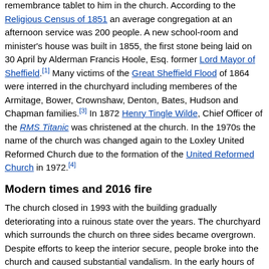remembrance tablet to him in the church. According to the Religious Census of 1851 an average congregation at an afternoon service was 200 people. A new school-room and minister's house was built in 1855, the first stone being laid on 30 April by Alderman Francis Hoole, Esq. former Lord Mayor of Sheffield.[1] Many victims of the Great Sheffield Flood of 1864 were interred in the churchyard including memberes of the Armitage, Bower, Crownshaw, Denton, Bates, Hudson and Chapman families.[3] In 1872 Henry Tingle Wilde, Chief Officer of the RMS Titanic was christened at the church. In the 1970s the name of the church was changed again to the Loxley United Reformed Church due to the formation of the United Reformed Church in 1972.[4]
Modern times and 2016 fire
The church closed in 1993 with the building gradually deteriorating into a ruinous state over the years. The churchyard which surrounds the church on three sides became overgrown. Despite efforts to keep the interior secure, people broke into the church and caused substantial vandalism. In the early hours of 17 August 2016 the church caught fire and was severely damaged by the flames. The fire was attended by three fire engines and was put out within hours, however the building was completely gutted, losing its roof and first floor and all its fitments, it now stands open